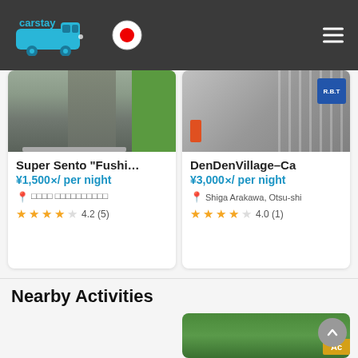[Figure (screenshot): Carstay app header with logo, Japanese flag, and hamburger menu on dark background]
[Figure (screenshot): Listing card: Super Sento 'Fushi...' road photo, ¥1,500/per night, Japanese location text, 4.2 stars (5 reviews)]
Super Sento "Fushi…"
¥1,500/ per night
4.2 (5)
[Figure (screenshot): Listing card: DenDenVillage-Ca parking photo, ¥3,000/per night, Shiga Arakawa, Otsu-shi, 4.0 stars (1 review)]
DenDenVillage–Ca
¥3,000/ per night
Shiga Arakawa, Otsu-shi
4.0 (1)
Nearby Activities
[Figure (photo): People doing SUP/paddleboard yoga on water, Activity badge]
[Figure (photo): Children exploring outdoors/nature, Activity badge]